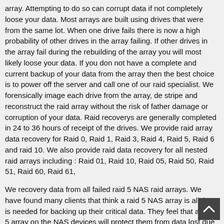array. Attempting to do so can corrupt data if not completely loose your data. Most arrays are built using drives that were from the same lot. When one drive fails there is now a high probability of other drives in the array failing. If other drives in the array fail during the rebuilding of the array you will most likely loose your data. If you don not have a complete and current backup of your data from the array then the best choice is to power off the server and call one of our raid specialist. We forensically image each drive from the array, de stripe and reconstruct the raid array without the risk of father damage or corruption of your data. Raid recoverys are generally completed in 24 to 36 hours of receipt of the drives. We provide raid array data recovery for Raid 0, Raid 1, Raid 3, Raid 4, Raid 5, Raid 6 and raid 10. We also provide raid data recovery for all nested raid arrays including : Raid 01, Raid 10, Raid 05, Raid 50, Raid 51, Raid 60, Raid 61,
We recovery data from all failed raid 5 NAS raid arrays. We have found many clients that think a raid 5 NAS array is all that is needed for backing up their critical data. They feel that a raid 5 array on the NAS devices will protect them from data lost due to the redundancy of the raid 5. Many have attempted to rebuild a failing array or copy the data from the array with a failed drive only to have the array total fail before completion. Generally another drive will fails or they encounter a read error. The only safe method of recovery of a failing raid array is to hard the drives forensically imaged , reconstructed and de strip the array. Remember, when the array was built all the drives most likely came from the same lot. If one of the drives fails there is a high probability that one of